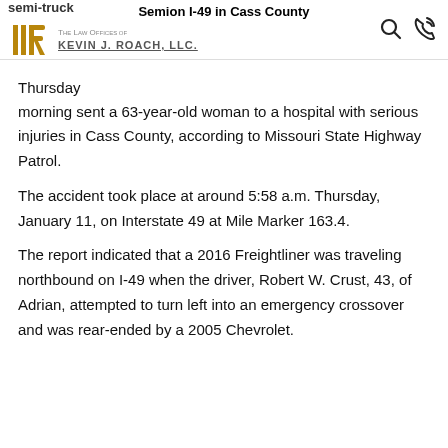semi-truck | Semion I-49 in Cass County | The Law Offices of Kevin J. Roach, LLC
Thursday morning sent a 63-year-old woman to a hospital with serious injuries in Cass County, according to Missouri State Highway Patrol.
The accident took place at around 5:58 a.m. Thursday, January 11, on Interstate 49 at Mile Marker 163.4.
The report indicated that a 2016 Freightliner was traveling northbound on I-49 when the driver, Robert W. Crust, 43, of Adrian, attempted to turn left into an emergency crossover and was rear-ended by a 2005 Chevrolet.